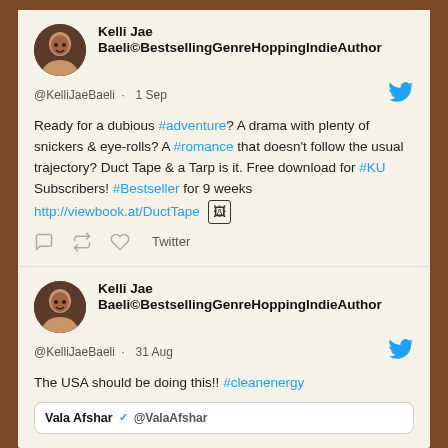[Figure (screenshot): Twitter/social media feed screenshot showing two tweets from Kelli Jae Baeli. First tweet dated 1 Sep about a book with hashtags #adventure, #romance, #KU, #Bestseller and a link. Second tweet dated 31 Aug about #cleanenergy with a quoted tweet from Vala Afshar.]